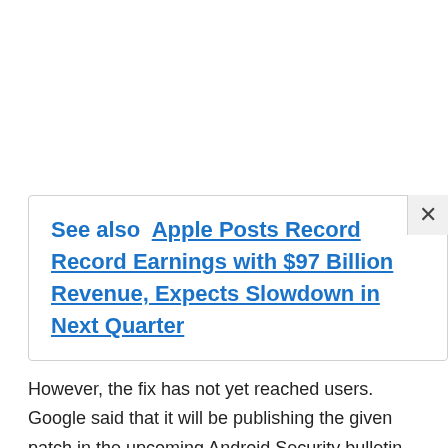See also  Apple Posts Record Record Earnings with $97 Billion Revenue, Expects Slowdown in Next Quarter
However, the fix has not yet reached users. Google said that it will be publishing the given patch in the upcoming Android Security bulletin, the research firm noted.
Check Point Research urges users to always update their mobile phones to the latest software version available.
Unisoc, previously known as Spreadtrum, has been getting bigger in the market of smartphones and has been dominating the last few years and